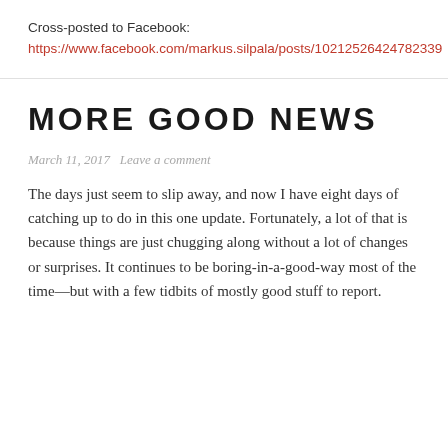Cross-posted to Facebook: https://www.facebook.com/markus.silpala/posts/10212526424782339
MORE GOOD NEWS
March 11, 2017   Leave a comment
The days just seem to slip away, and now I have eight days of catching up to do in this one update. Fortunately, a lot of that is because things are just chugging along without a lot of changes or surprises. It continues to be boring-in-a-good-way most of the time—but with a few tidbits of mostly good stuff to report.